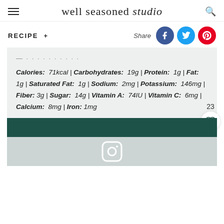well seasoned studio
RECIPE +
Share
Calories: 71kcal | Carbohydrates: 19g | Protein: 1g | Fat: 1g | Saturated Fat: 1g | Sodium: 2mg | Potassium: 146mg | Fiber: 3g | Sugar: 14g | Vitamin A: 74IU | Vitamin C: 6mg | Calcium: 8mg | Iron: 1mg
[Figure (logo): Instagram icon in rounded square shape on teal/green bar area]